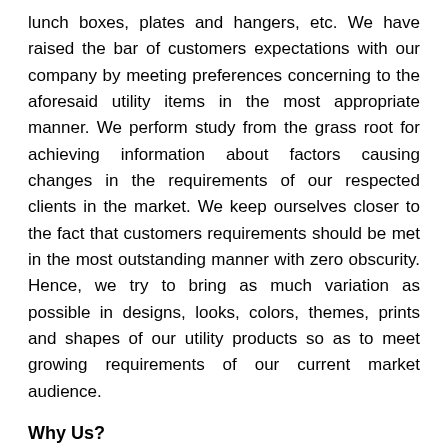lunch boxes, plates and hangers, etc. We have raised the bar of customers expectations with our company by meeting preferences concerning to the aforesaid utility items in the most appropriate manner. We perform study from the grass root for achieving information about factors causing changes in the requirements of our respected clients in the market. We keep ourselves closer to the fact that customers requirements should be met in the most outstanding manner with zero obscurity. Hence, we try to bring as much variation as possible in designs, looks, colors, themes, prints and shapes of our utility products so as to meet growing requirements of our current market audience.
Why Us?
Our business unit backs a strong supply capacity for accomplishing requirements of different audience.